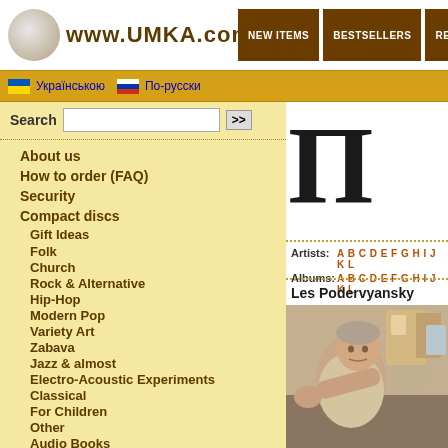www.UMKA.com.ua
NEW ITEMS
BESTSELLERS
REVIEWS
Українською   По-русски
Search
About us
How to order (FAQ)
Security
Compact discs
Gift Ideas
Folk
Church
Rock & Alternative
Hip-Hop
Modern Pop
Variety Art
Zabava
Jazz & almost
Electro-Acoustic Experiments
Classical
For Children
Other
Audio Books
MP3-CD
Artists: A B C D E F G H I J K L
Albums:  A B C D E F G H I J K L
Les Podervyansky
[Figure (photo): Photo of Les Podervyansky, a man in a light shirt gesturing with his arm outstretched, in a cluttered room setting]